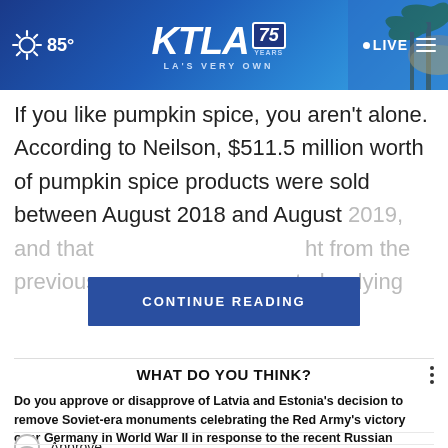KTLA 75 Years — LA'S VERY OWN | 85° | LIVE
If you like pumpkin spice, you aren't alone. According to Neilson, $511.5 million worth of pumpkin spice products were sold between August 2018 and August 2019, and that [CONTINUE READING] ht from the previous year [obscured] ar to be dying
CONTINUE READING
WHAT DO YOU THINK?
Do you approve or disapprove of Latvia and Estonia's decision to remove Soviet-era monuments celebrating the Red Army's victory over Germany in World War II in response to the recent Russian invasion of Ukraine?
Approve
Neutral